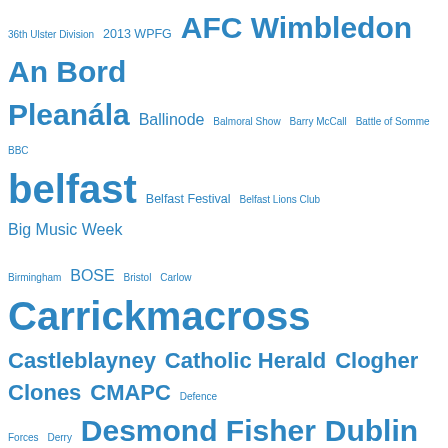[Figure (other): Tag cloud with terms related to Irish/Northern Irish topics, rendered in blue text at varying font sizes indicating frequency/importance. Terms include: 36th Ulster Division, 2013 WPFG, AFC Wimbledon, An Bord Pleanála, Ballinode, Balmoral Show, Barry McCall, Battle of Somme, BBC, belfast, Belfast Festival, Belfast Lions Club, Big Music Week, Birmingham, BOSE, Bristol, Carlow, Carrickmacross, Castleblayney, Catholic Herald, Clogher, Clones, CMAPC, Defence Forces, Derry, Desmond Fisher, Dublin, EirGrid, Emyvale, Fine Gael, GAA, Geel, Glaslough, Heather Humphreys TD, Iarnród Éireann, Ice Hockey, Ieper, Inniskeen, Irish Press, Kingsmeadow, London, Meath, Michael Fisher, Monaghan, Monaghan County Council, NEC, NEPPC, Newbridge, North/South Interconnector, Northern Standard, NUJ, Odyssey Arena, Patrick Comerford, Pope Francis, Poperinge, Private, Robert Hamilton, PSNI, Royal Irish Fusiliers, RTÉ, SDLP, Shamrock Rovers, Shared History]